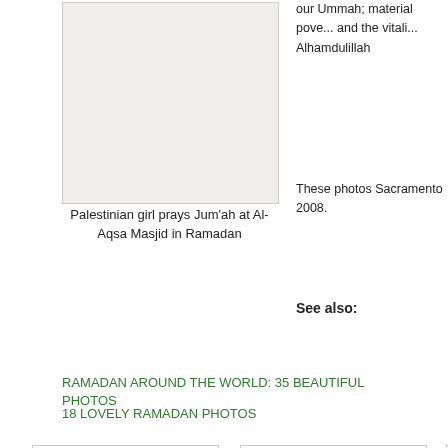[Figure (photo): Photo box showing Palestinian girl praying at Al-Aqsa Masjid in Ramadan (image placeholder, light beige background)]
Palestinian girl prays Jum'ah at Al-Aqsa Masjid in Ramadan
our Ummah; material poverty and the vitality Alhamdulillah
These photos Sacramento 2008.
See also:
RAMADAN AROUND THE WORLD: 35 BEAUTIFUL PHOTOS
18 LOVELY RAMADAN PHOTOS
[Figure (photo): Bottom photo box 1 (image placeholder, white background)]
[Figure (photo): Bottom photo box 2 (image placeholder, white background)]
[Figure (photo): Bottom photo box 3, partially visible (image placeholder, white background)]